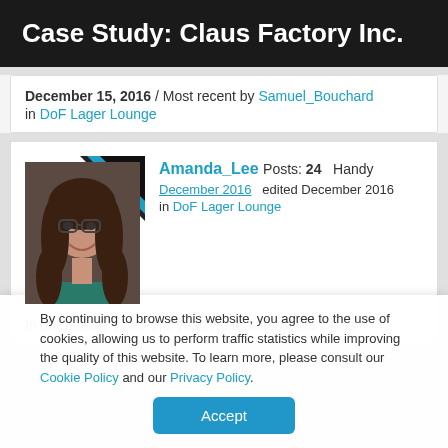Case Study: Claus Factory Inc.
December 15, 2016 / Most recent by Samuel_Bouchard in DoF Lager Lounge
[Figure (photo): Forum post header showing user avatar of Amanda_Lee with teal/black triangle badge, username Amanda_Lee, Posts: 24, Handy, December 2016, edited December 2016, in DoF Lager Lounge]
In our holiday video this year, we feature Santa Claus
By continuing to browse this website, you agree to the use of cookies, allowing us to perform traffic statistics while improving the quality of this website. To learn more, please consult our Cookie Policy and our Privacy Policy.
Accept